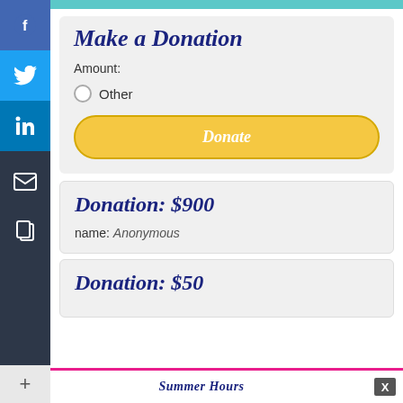[Figure (infographic): Social media sharing sidebar with Facebook, Twitter, LinkedIn, email, copy, and plus icons on colored backgrounds]
Make a Donation
Amount:
Other
Donate
Donation: $900
name: Anonymous
Donation: $50
Summer Hours